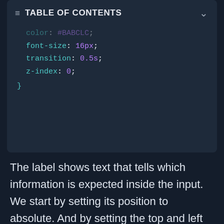TABLE OF CONTENTS
[Figure (screenshot): Code block showing CSS properties: color: #BABCLC; (faded/cut off), font-size: 16px; transition: 0.5s; z-index: 0; with closing brace, on dark background panel]
The label shows text that tells which information is expected inside the input. We start by setting its position to absolute. And by setting the top and left properties, we can move the text upwards relative to its container.